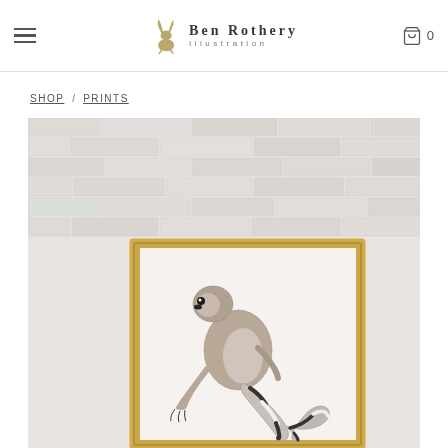BEN ROTHERY ILLUSTRATION
SHOP / PRINTS
[Figure (photo): Product page screenshot of Ben Rothery Illustration website showing a framed art print of a ring-tailed lemur perched on a branch, displayed against a white painted brick wall background. The lemur illustration shows the animal from behind with its distinctive striped tail curling downward. The print is in a warm wooden/gold frame.]